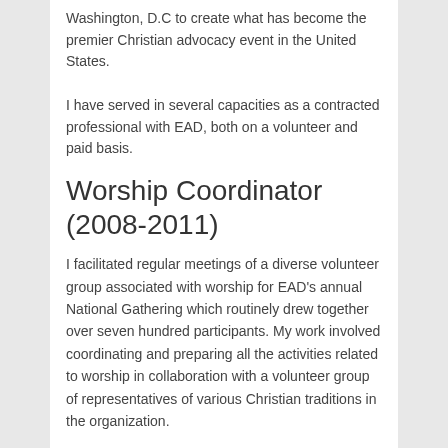Washington, D.C to create what has become the premier Christian advocacy event in the United States.
I have served in several capacities as a contracted professional with EAD, both on a volunteer and paid basis.
Worship Coordinator (2008-2011)
I facilitated regular meetings of a diverse volunteer group associated with worship for EAD’s annual National Gathering which routinely drew together over seven hundred participants. My work involved coordinating and preparing all the activities related to worship in collaboration with a volunteer group of representatives of various Christian traditions in the organization.